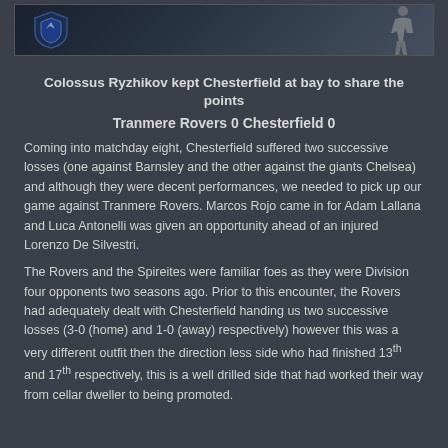[Figure (photo): Partial image showing football/soccer related imagery with a shield/crest on the left and a figure on the right, dark background]
Colossus Ryzhikov kept Chesterfield at bay to share the points
Tranmere Rovers 0 Chesterfield 0
Coming into matchday eight, Chesterfield suffered two successive losses (one against Barnsley and the other against the giants Chelsea) and although they were decent performances, we needed to pick up our game against Tranmere Rovers. Marcos Rojo came in for Adam Lallana and Luca Antonelli was given an opportunity ahead of an injured Lorenzo De Silvestri.
The Rovers and the Spireites were familiar foes as they were Division four opponents two seasons ago. Prior to this encounter, the Rovers had adequately dealt with Chesterfield handing us two successive losses (3-0 (home) and 1-0 (away) respectively) however this was a very different outfit then the direction less side who had finished 13th and 17th respectively, this is a well drilled side that had worked their way from cellar dweller to being promoted.